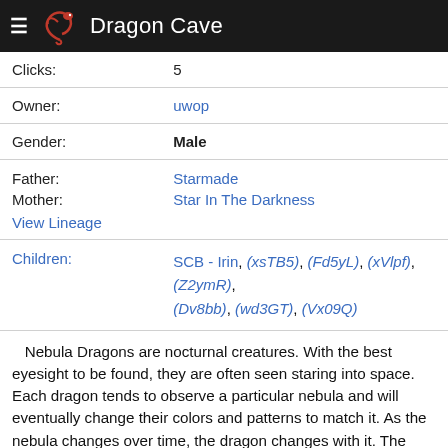Dragon Cave
| Clicks: | 5 |
| Owner: | uwop |
| Gender: | Male |
| Father: | Starmade |
| Mother: | Star In The Darkness |
| View Lineage |  |
| Children: | SCB - Irin, (xsTB5), (Fd5yL), (xVlpf), (Z2ymR), (Dv8bb), (wd3GT), (Vx09Q) |
Nebula Dragons are nocturnal creatures. With the best eyesight to be found, they are often seen staring into space. Each dragon tends to observe a particular nebula and will eventually change their colors and patterns to match it. As the nebula changes over time, the dragon changes with it. The more intricate the design of the nebula, the better chance an individual has of attracting a mate. It is said that the caribou man to Nebula Dragons will be worth the th...